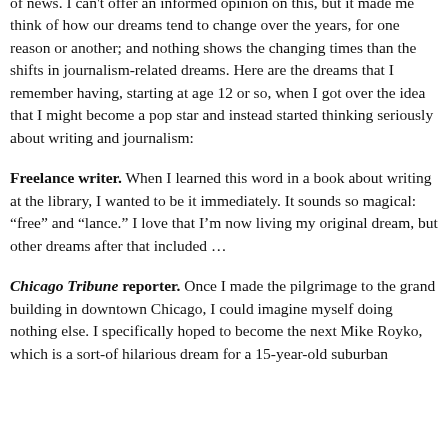of news. I can't offer an informed opinion on this, but it made me think of how our dreams tend to change over the years, for one reason or another; and nothing shows the changing times than the shifts in journalism-related dreams. Here are the dreams that I remember having, starting at age 12 or so, when I got over the idea that I might become a pop star and instead started thinking seriously about writing and journalism:
Freelance writer. When I learned this word in a book about writing at the library, I wanted to be it immediately. It sounds so magical: “free” and “lance.” I love that I’m now living my original dream, but other dreams after that included …
Chicago Tribune reporter. Once I made the pilgrimage to the grand building in downtown Chicago, I could imagine myself doing nothing else. I specifically hoped to become the next Mike Royko, which is a sort-of hilarious dream for a 15-year-old suburban